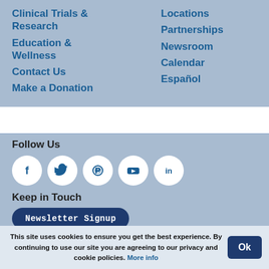Clinical Trials & Research
Education & Wellness
Contact Us
Make a Donation
Locations
Partnerships
Newsroom
Calendar
Español
Follow Us
[Figure (illustration): Social media icons in white circles: Facebook, Twitter, Pinterest, YouTube, LinkedIn]
Keep in Touch
Newsletter Signup
[Figure (logo): BEST badge logo]
© 2022 National Jewish Health
1400 Jackson Street
This site uses cookies to ensure you get the best experience. By continuing to use our site you are agreeing to our privacy and cookie policies. More info